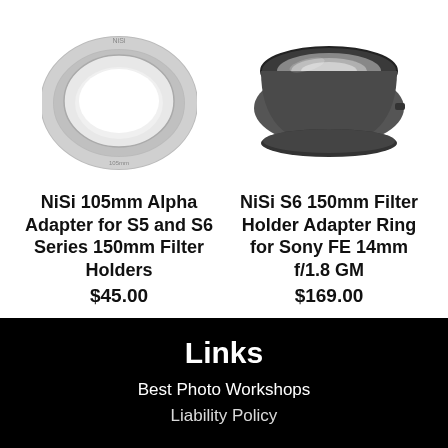[Figure (photo): NiSi 105mm Alpha Adapter ring product photo - a thin circular adapter ring in gray/silver tone viewed at slight angle]
NiSi 105mm Alpha Adapter for S5 and S6 Series 150mm Filter Holders
$45.00
[Figure (photo): NiSi S6 150mm Filter Holder Adapter Ring for Sony FE 14mm f/1.8 GM product photo - a wider black adapter ring/hood viewed at slight angle]
NiSi S6 150mm Filter Holder Adapter Ring for Sony FE 14mm f/1.8 GM
$169.00
Links
Best Photo Workshops
Liability Policy